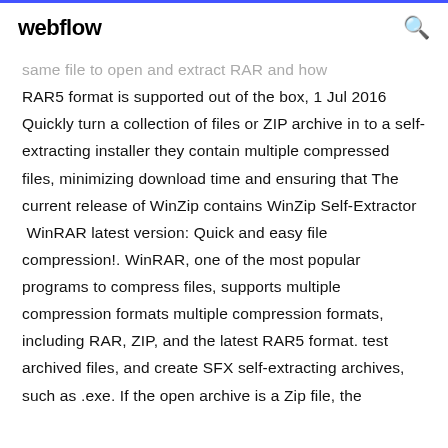webflow
same file to open and extract RAR and how RAR5 format is supported out of the box, 1 Jul 2016 Quickly turn a collection of files or ZIP archive in to a self-extracting installer they contain multiple compressed files, minimizing download time and ensuring that The current release of WinZip contains WinZip Self-Extractor  WinRAR latest version: Quick and easy file compression!. WinRAR, one of the most popular programs to compress files, supports multiple compression formats multiple compression formats, including RAR, ZIP, and the latest RAR5 format. test archived files, and create SFX self-extracting archives, such as .exe. If the open archive is a Zip file, the